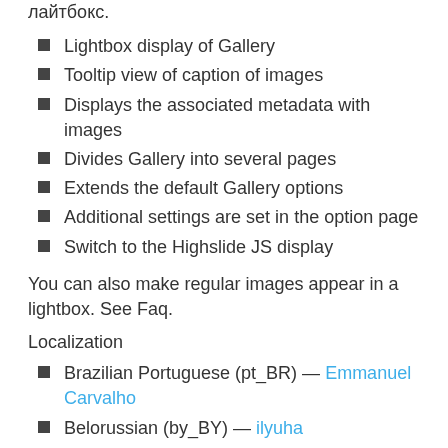лайтбокс.
Lightbox display of Gallery
Tooltip view of caption of images
Displays the associated metadata with images
Divides Gallery into several pages
Extends the default Gallery options
Additional settings are set in the option page
Switch to the Highslide JS display
You can also make regular images appear in a lightbox. See Faq.
Localization
Brazilian Portuguese (pt_BR) — Emmanuel Carvalho
Belorussian (by_BY) — ilyuha
Czech (cs_CZ) — Petufo
Spanish(es_ES) — Daniel Tarrore